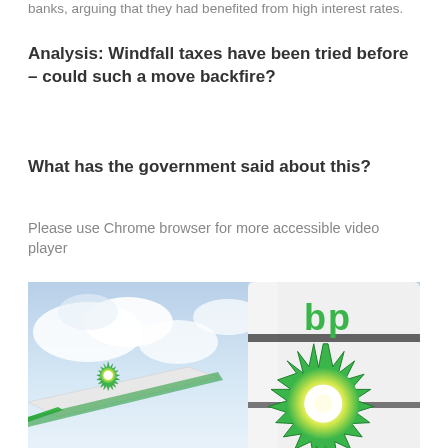banks, arguing that they had benefited from high interest rates.
Analysis: Windfall taxes have been tried before – could such a move backfire?
What has the government said about this?
Please use Chrome browser for more accessible video player
[Figure (photo): Close-up photograph of a BP petrol station sign showing the green and yellow BP sunflower logo on a cylindrical white pillar, with a blue sky and clouds in the background.]